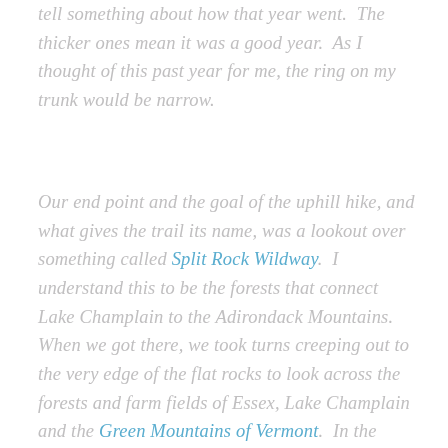…tell something about how that year went.  The thicker ones mean it was a good year.  As I thought of this past year for me, the ring on my trunk would be narrow.
Our end point and the goal of the uphill hike, and what gives the trail its name, was a lookout over something called Split Rock Wildway.  I understand this to be the forests that connect Lake Champlain to the Adirondack Mountains.   When we got there, we took turns creeping out to the very edge of the flat rocks to look across the forests and farm fields of Essex, Lake Champlain and the Green Mountains of Vermont.  In the